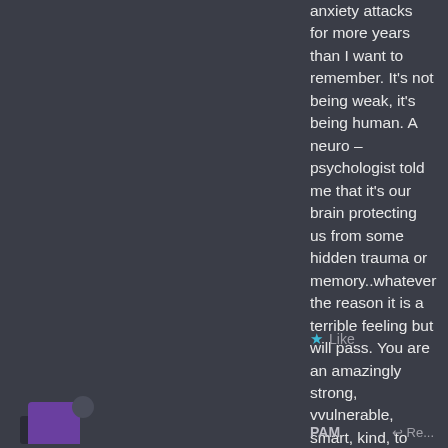anxiety attacks for more years than I want to remember. It's not being weak, it's being human. A neuro – psychologist told me that it's our brain protecting us from some hidden trauma or memory..whatever the reason it is a terrible feeling but will pass. You are an amazingly strong, vvulnerable, smart, kind, to hard on yourself person...I could go on and on...just know you are human and with that comes all kinds of messy stuff...and it's ok. You are loved because we know your heart.
★ Like
[Figure (illustration): User avatar icon with purple and dark background colors]
PAM